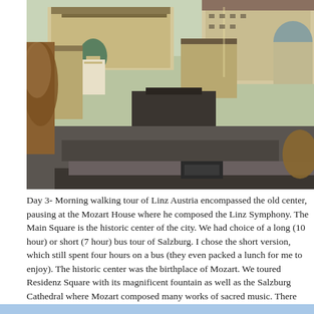[Figure (photo): Aerial view of Salzburg/Linz Austria showing old city buildings, a church with green dome, historic architecture, parking areas, and autumn trees from above.]
Day 3- Morning walking tour of Linz Austria encompassed the old center, pausing at the Mozart House where he composed the Linz Symphony. The Main Square is the historic center of the city. We had choice of a long (10 hour) or short (7 hour) bus tour of Salzburg. I chose the short version, which still spent four hours on a bus (they even packed a lunch for me to enjoy). The historic center was the birthplace of Mozart. We toured Residenz Square with its magnificent fountain as well as the Salzburg Cathedral where Mozart composed many works of sacred music. There was some free time before we returned to the ship for dinner.